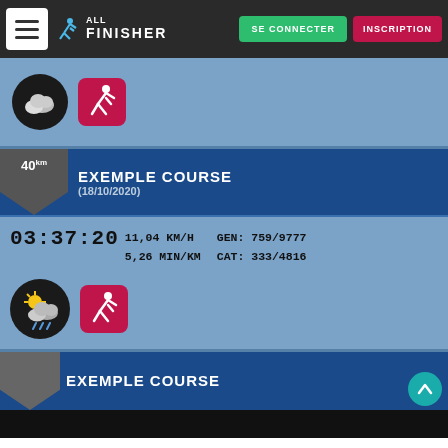AllFinisher — SE CONNECTER | INSCRIPTION
[Figure (screenshot): Weather icon with clouds on dark circle background]
[Figure (screenshot): Running icon on red rounded square]
EXEMPLE COURSE (18/10/2020) — 40km
03:37:20  11,04 KM/H  5,26 MIN/KM  GEN: 759/9777  CAT: 333/4816
[Figure (screenshot): Sun and clouds with rain weather icon on dark circle]
[Figure (screenshot): Running icon on red rounded square]
EXEMPLE COURSE